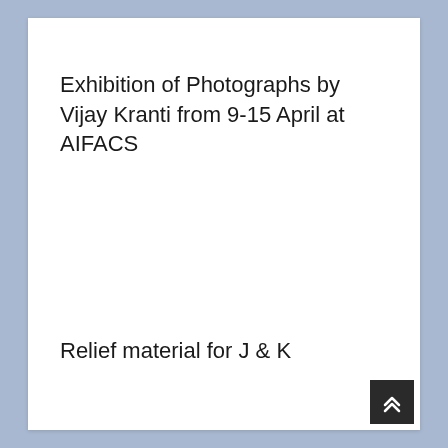Exhibition of Photographs by Vijay Kranti from 9-15 April at AIFACS
Relief material for J & K